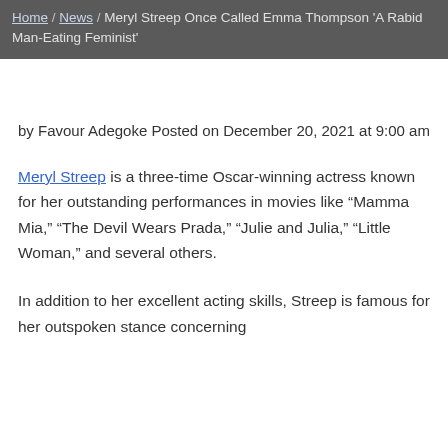Home / News / Meryl Streep Once Called Emma Thompson 'A Rabid Man-Eating Feminist'
by Favour Adegoke Posted on December 20, 2021 at 9:00 am
Meryl Streep is a three-time Oscar-winning actress known for her outstanding performances in movies like “Mamma Mia,” “The Devil Wears Prada,” “Julie and Julia,” “Little Woman,” and several others.
In addition to her excellent acting skills, Streep is famous for her outspoken stance concerning